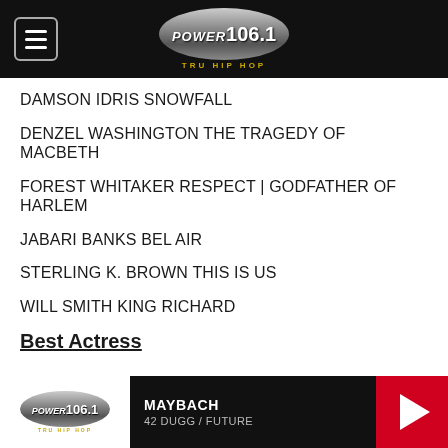Power 106.1 TRU HIP HOP
DAMSON IDRIS SNOWFALL
DENZEL WASHINGTON THE TRAGEDY OF MACBETH
FOREST WHITAKER RESPECT | GODFATHER OF HARLEM
JABARI BANKS BEL AIR
STERLING K. BROWN THIS IS US
WILL SMITH KING RICHARD
Best Actress
MAYBACH 42 DUGG / FUTURE